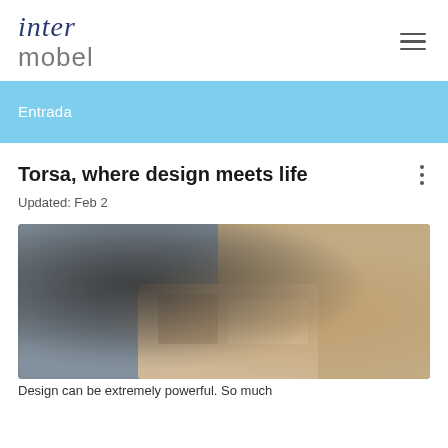inter mobel
Entrada
Torsa, where design meets life
Updated: Feb 2
[Figure (photo): Blurred interior/furniture photo showing design pieces on a table, warm neutral tones]
Design can be extremely powerful. So much